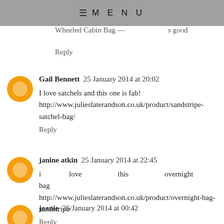MENU
Wheeled Cabin Bag — …s good
Reply
Gail Bennett  25 January 2014 at 20:02
I love satchels and this one is fab! http://www.julieslaterandson.co.uk/product/sandstripe-satchel-bag/
Reply
janine atkin  25 January 2014 at 22:45
i love this overnight bag http://www.julieslaterandson.co.uk/product/overnight-bag-sandstripe/
Reply
joanie  26 January 2014 at 00:42